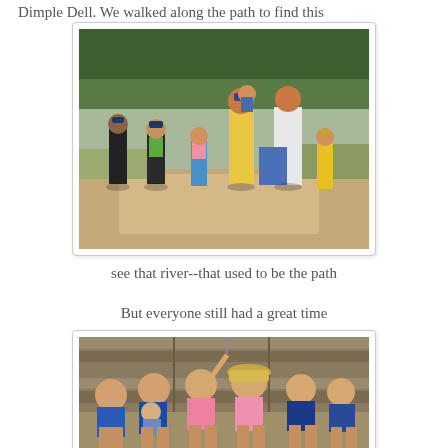Dimple Dell. We walked along the path to find this
[Figure (photo): Group of adults and children walking along a dusty path surrounded by trees and dry brush. Several children in hats and colorful clothing walking ahead of two adults.]
see that river--that used to be the path
But everyone still had a great time
[Figure (photo): Group of young children sitting together on what appears to be a wooden surface or fence. Children ranging from infant to about age 6, wearing colorful clothes, smiling and posing for the camera.]